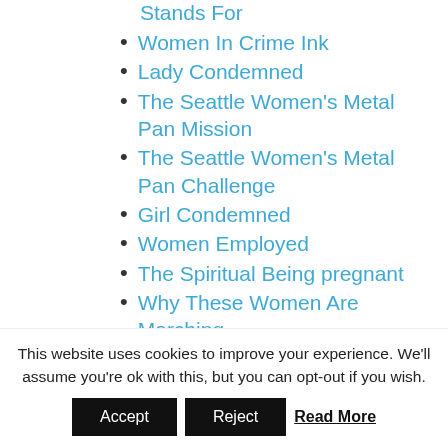Stands For
Women In Crime Ink
Lady Condemned
The Seattle Women's Metal Pan Mission
The Seattle Women's Metal Pan Challenge
Girl Condemned
Women Employed
The Spiritual Being pregnant
Why These Women Are Marching
The Religious Pregnancy
Women's March On Washington
Women
This website uses cookies to improve your experience. We'll assume you're ok with this, but you can opt-out if you wish.
Accept | Reject | Read More